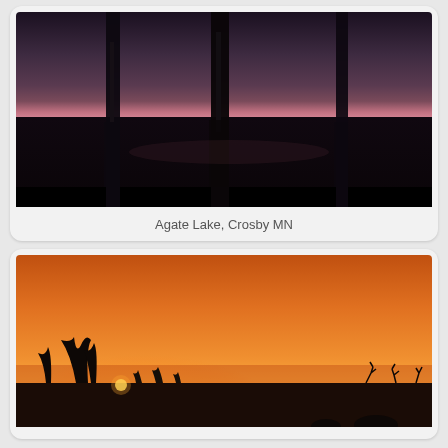[Figure (photo): Dark twilight photograph at Agate Lake showing silhouettes of bare tree trunks reflected in still water, with a deep purple-gray sky and hints of pink/orange near the horizon]
Agate Lake, Crosby MN
[Figure (photo): Vivid orange and golden sunset photograph showing tree silhouettes against a bright glowing sky, with the sun low on the horizon casting intense orange light across clouds and landscape]